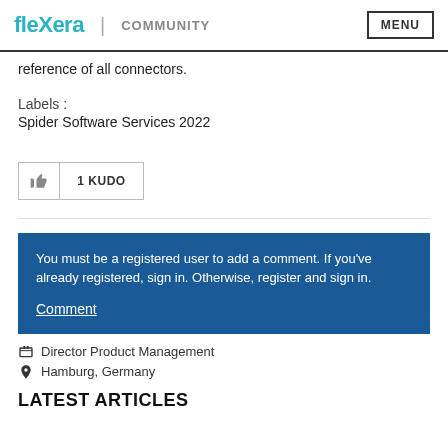Flexera | COMMUNITY  MENU
reference of all connectors.
Labels :
Spider Software Services 2022
[Figure (other): Thumbs up kudo button showing 1 KUDO]
You must be a registered user to add a comment. If you've already registered, sign in. Otherwise, register and sign in.
Comment
Director Product Management
Hamburg, Germany
LATEST ARTICLES